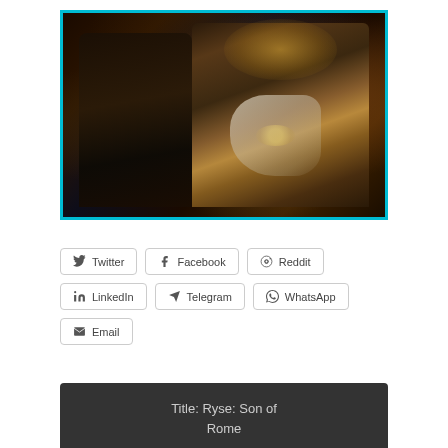[Figure (screenshot): Dark video game screenshot with a Roman centurion character in gold armor with white fabric/sash, and another armored figure on the left. Cyan/light-blue border around the image. This appears to be from Ryse: Son of Rome.]
Twitter
Facebook
Reddit
LinkedIn
Telegram
WhatsApp
Email
Title: Ryse: Son of Rome